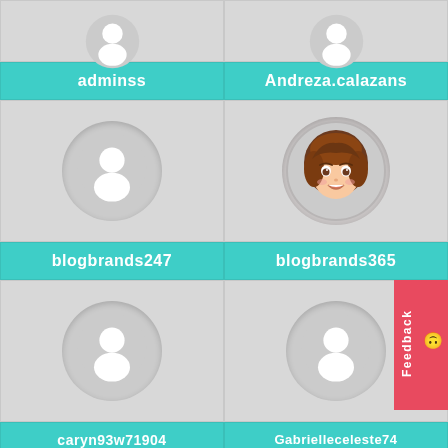[Figure (illustration): Two user profile avatar cards at top, partially cropped]
adminss
Andreza.calazans
[Figure (illustration): Two user profile avatar cards - blogbrands247 default avatar, blogbrands365 animated female avatar]
blogbrands247
blogbrands365
[Figure (illustration): Two user profile avatar cards - caryn93w71904 and Gabrielleceleste74 with default avatars]
caryn93w71904
Gabrielleceleste74
[Figure (illustration): Partial card at bottom left with photo avatar, partially cropped]